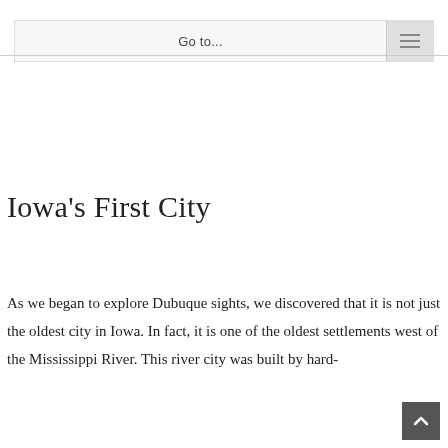Go to...
Iowa's First City
As we began to explore Dubuque sights, we discovered that it is not just the oldest city in Iowa. In fact, it is one of the oldest settlements west of the Mississippi River. This river city was built by hard-